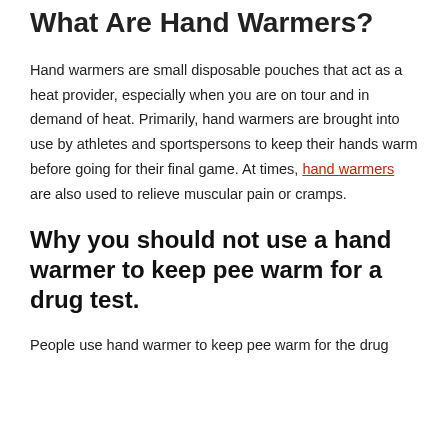What Are Hand Warmers?
Hand warmers are small disposable pouches that act as a heat provider, especially when you are on tour and in demand of heat. Primarily, hand warmers are brought into use by athletes and sportspersons to keep their hands warm before going for their final game. At times, hand warmers are also used to relieve muscular pain or cramps.
Why you should not use a hand warmer to keep pee warm for a drug test.
People use hand warmer to keep pee warm for the drug